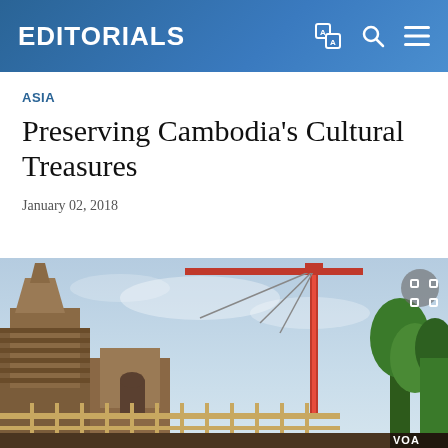EDITORIALS
ASIA
Preserving Cambodia's Cultural Treasures
January 02, 2018
[Figure (photo): Ancient Cambodian temple ruins with a large construction crane in the background against a hazy sky. Stone structures with brick archways, a metal fence in the foreground, and green trees on the right. VOA watermark visible at bottom right.]